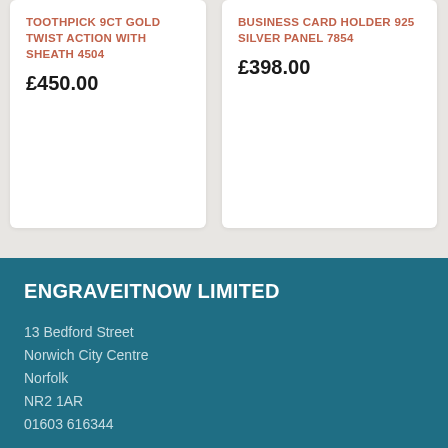TOOTHPICK 9CT GOLD TWIST ACTION WITH SHEATH 4504
£450.00
BUSINESS CARD HOLDER 925 SILVER PANEL 7854
£398.00
ENGRAVEITNOW LIMITED
13 Bedford Street
Norwich City Centre
Norfolk
NR2 1AR
01603 616344